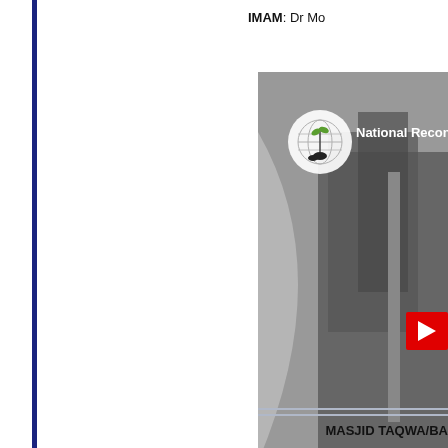IMAM: Dr Mo
[Figure (photo): National Reconciliation event photo showing a grey-scale outdoor scene with trees and a building, overlaid with a circular logo and 'National Reconcil...' text in white, and a red play button element]
MASJID TAQWA/BA